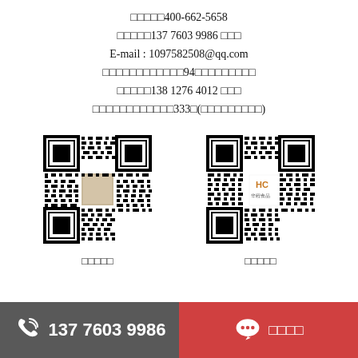服务热线：400-662-5658
营销总监：137 7603 9986 钟先生
E-mail : 1097582508@qq.com
地址：成都市武侯区桂溪街道94号华程食品
营销总监：138 1276 4012 曾先生
地址：成都市武侯区桂溪街道333号(华程食品仓库)
[Figure (other): QR code for personal WeChat/contact]
扫码关注
[Figure (other): QR code for HC 华程食品 official account]
扫码关注
137 7603 9986
微信客服